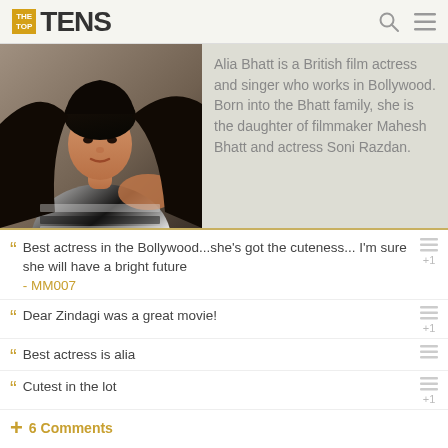THE TOP TENS
[Figure (photo): Portrait photo of Alia Bhatt, a young woman with long dark hair wearing a black and white striped top, photographed against a grey background.]
Alia Bhatt is a British film actress and singer who works in Bollywood. Born into the Bhatt family, she is the daughter of filmmaker Mahesh Bhatt and actress Soni Razdan.
Best actress in the Bollywood...she's got the cuteness... I'm sure she will have a bright future - MM007
Dear Zindagi was a great movie!
Best actress is alia
Cutest in the lot
+ 6 Comments